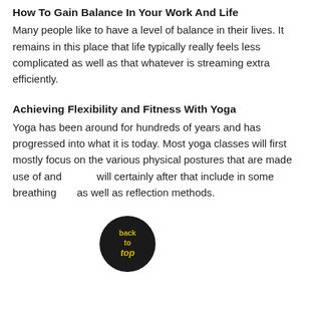How To Gain Balance In Your Work And Life
Many people like to have a level of balance in their lives. It remains in this place that life typically really feels less complicated as well as that whatever is streaming extra efficiently.
Achieving Flexibility and Fitness With Yoga
Yoga has been around for hundreds of years and has progressed into what it is today. Most yoga classes will first mostly focus on the various physical postures that are made use of and will certainly after that include in some breathing as well as reflection methods.
[Figure (illustration): A circular black 'back to top' button with yellow text reading 'back to top' positioned over the body text]